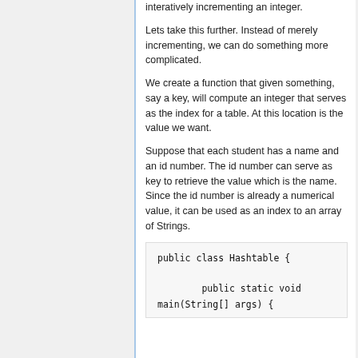interatively incrementing an integer.
Lets take this further. Instead of merely incrementing, we can do something more complicated.
We create a function that given something, say a key, will compute an integer that serves as the index for a table. At this location is the value we want.
Suppose that each student has a name and an id number. The id number can serve as key to retrieve the value which is the name. Since the id number is already a numerical value, it can be used as an index to an array of Strings.
public class Hashtable {

        public static void
main(String[] args) {